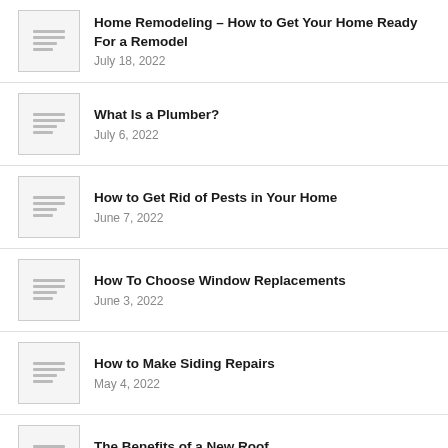Home Remodeling – How to Get Your Home Ready For a Remodel
July 18, 2022
What Is a Plumber?
July 6, 2022
How to Get Rid of Pests in Your Home
June 7, 2022
How To Choose Window Replacements
June 3, 2022
How to Make Siding Repairs
May 4, 2022
The Benefits of a New Roof
May 4, 2022
How to Install a Sediment Control Fence